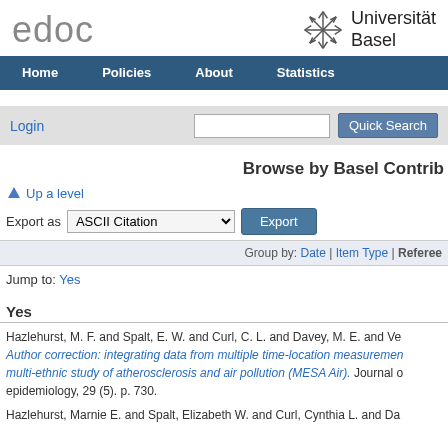edoc | Universität Basel
Browse by Basel Contrib
Up a level
Export as ASCII Citation | Export
Group by: Date | Item Type | Referee
Jump to: Yes
Yes
Hazlehurst, M. F. and Spalt, E. W. and Curl, C. L. and Davey, M. E. and Ve... Author correction: integrating data from multiple time-location measurement... multi-ethnic study of atherosclerosis and air pollution (MESA Air). Journal o... epidemiology, 29 (5). p. 730.
Hazlehurst, Marnie E. and Spalt, Elizabeth W. and Curl, Cynthia L. and Da...